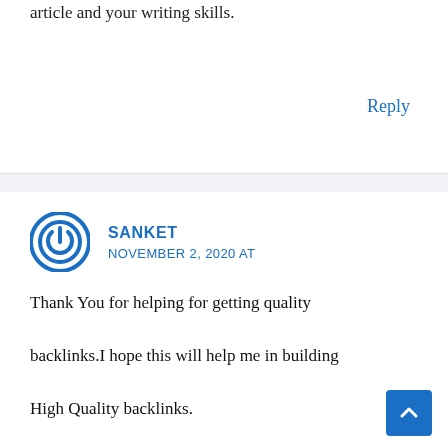article and your writing skills.
Reply
SANKET
NOVEMBER 2, 2020 AT
Thank You for helping for getting quality backlinks.I hope this will help me in building High Quality backlinks.

Can You please suggest me some tools to